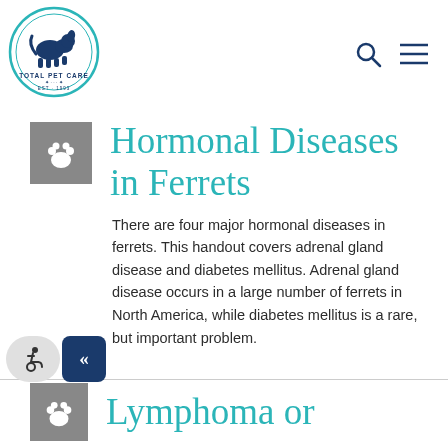Total Pet Care logo with search and menu icons
[Figure (logo): Total Pet Care circular logo with a dog and cat silhouette, EST. 1993]
Hormonal Diseases in Ferrets
There are four major hormonal diseases in ferrets. This handout covers adrenal gland disease and diabetes mellitus. Adrenal gland disease occurs in a large number of ferrets in North America, while diabetes mellitus is a rare, but important problem.
Lymphoma or